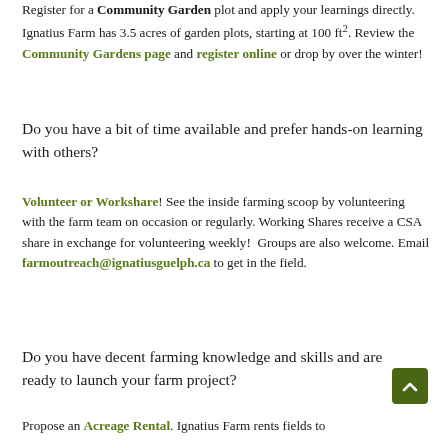Register for a Community Garden plot and apply your learnings directly. Ignatius Farm has 3.5 acres of garden plots, starting at 100 ft². Review the Community Gardens page and register online or drop by over the winter!
Do you have a bit of time available and prefer hands-on learning with others?
Volunteer or Workshare! See the inside farming scoop by volunteering with the farm team on occasion or regularly. Working Shares receive a CSA share in exchange for volunteering weekly! Groups are also welcome. Email farmoutreach@ignatiusguelph.ca to get in the field.
Do you have decent farming knowledge and skills and are ready to launch your farm project?
Propose an Acreage Rental. Ignatius Farm rents fields to